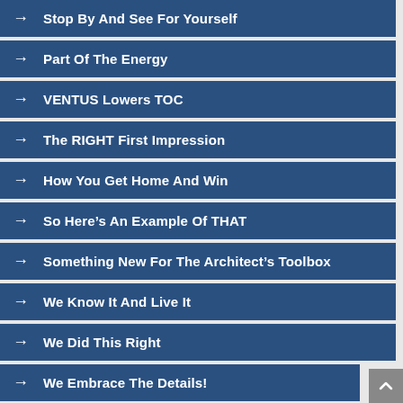→ Stop By And See For Yourself
→ Part Of The Energy
→ VENTUS Lowers TOC
→ The RIGHT First Impression
→ How You Get Home And Win
→ So Here's An Example Of THAT
→ Something New For The Architect's Toolbox
→ We Know It And Live It
→ We Did This Right
→ We Embrace The Details!